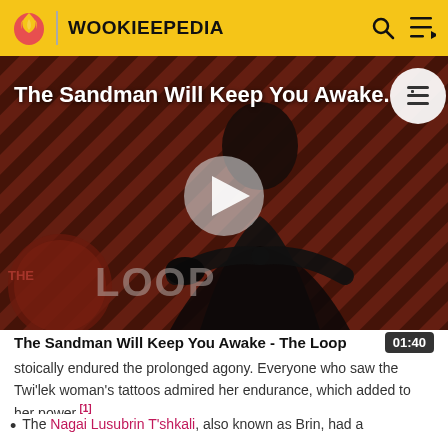WOOKIEEPEDIA
[Figure (screenshot): Video thumbnail for 'The Sandman Will Keep You Awake - The Loop' with a play button overlay. Dark-robed figure standing in front of a red-and-black diagonal striped background. 'THE LOOP' text in lower left. White circular content icon top right.]
The Sandman Will Keep You Awake - The Loop  01:40
stoically endured the prolonged agony. Everyone who saw the Twi'lek woman's tattoos admired her endurance, which added to her power.[1]
The Nagai Lusubrin T'shkali, also known as Brin, had a